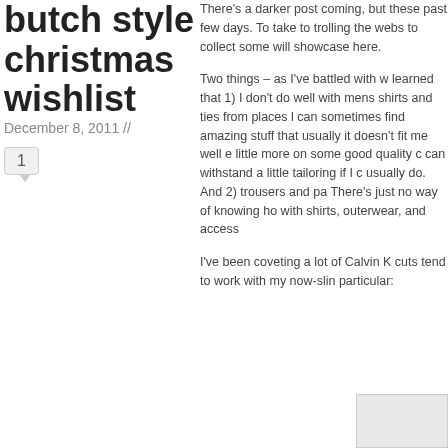butch style christmas wishlist
December 8, 2011 //
1
There's a darker post coming, but these past few days. To take to trolling the webs to collect some will showcase here.
Two things – as I've battled with w learned that 1) I don't do well with mens shirts and ties from places l can sometimes find amazing stuff that usually it doesn't fit me well e little more on some good quality c can withstand a little tailoring if I c usually do. And 2) trousers and pa There's just no way of knowing ho with shirts, outerwear, and access
I've been coveting a lot of Calvin K cuts tend to work with my now-slin particular:
[Figure (photo): Partial image of a person, cropped at bottom right corner]